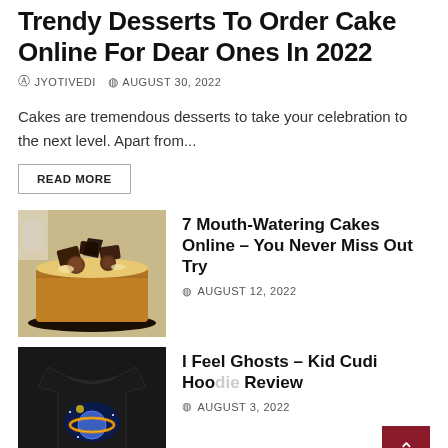Trendy Desserts To Order Cake Online For Dear Ones In 2022
JYOTIVEDI   AUGUST 30, 2022
Cakes are tremendous desserts to take your celebration to the next level. Apart from...
READ MORE
[Figure (photo): Photo of a chocolate cake topped with chocolate pieces and truffles]
7 Mouth-Watering Cakes Online – You Never Miss Out Try
AUGUST 12, 2022
[Figure (photo): Photo of a black t-shirt with Kid Cudi graphic print]
I Feel Ghosts – Kid Cudi Hoodie Review
AUGUST 3, 2022